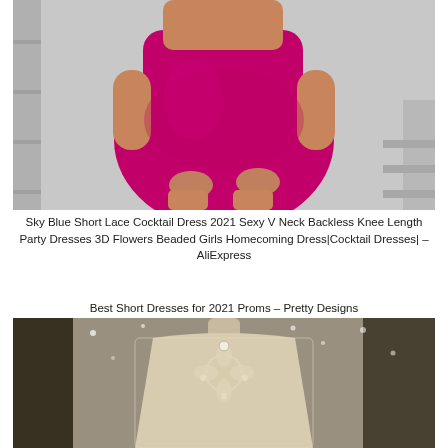[Figure (photo): Woman wearing a short magenta/hot pink satin dress, leaning against a white wall, cropped to show torso and legs.]
Sky Blue Short Lace Cocktail Dress 2021 Sexy V Neck Backless Knee Length Party Dresses 3D Flowers Beaded Girls Homecoming Dress|Cocktail Dresses| – AliExpress
Best Short Dresses for 2021 Proms – Pretty Designs
[Figure (photo): Close-up of a lace/beaded dress on a mannequin torso, showing intricate white lace floral embroidery and beading on the bodice.]